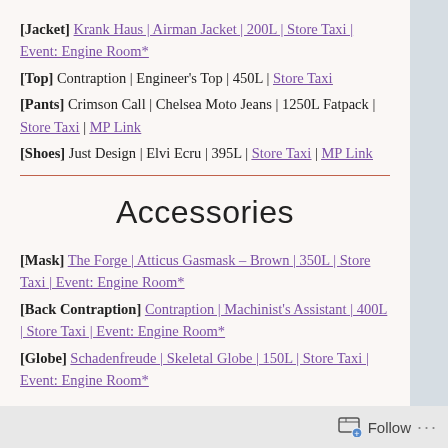[Jacket] Krank Haus | Airman Jacket | 200L | Store Taxi | Event: Engine Room*
[Top] Contraption | Engineer's Top | 450L | Store Taxi
[Pants] Crimson Call | Chelsea Moto Jeans | 1250L Fatpack | Store Taxi | MP Link
[Shoes] Just Design | Elvi Ecru | 395L | Store Taxi | MP Link
Accessories
[Mask] The Forge | Atticus Gasmask – Brown | 350L | Store Taxi | Event: Engine Room*
[Back Contraption] Contraption | Machinist's Assistant | 400L | Store Taxi | Event: Engine Room*
[Globe] Schadenfreude | Skeletal Globe | 150L | Store Taxi | Event: Engine Room*
Follow